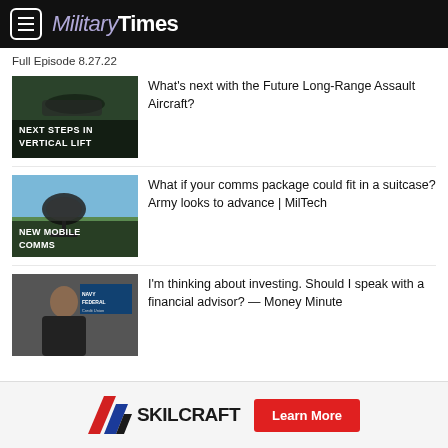MilitaryTimes
Full Episode 8.27.22
[Figure (screenshot): Video thumbnail showing a military helicopter with text 'NEXT STEPS IN VERTICAL LIFT']
What's next with the Future Long-Range Assault Aircraft?
[Figure (screenshot): Video thumbnail showing a satellite dish with text 'NEW MOBILE COMMS']
What if your comms package could fit in a suitcase? Army looks to advance | MilTech
[Figure (screenshot): Video thumbnail showing a woman in front of Navy Federal Credit Union branding]
I'm thinking about investing. Should I speak with a financial advisor? — Money Minute
[Figure (logo): SKILCRAFT logo with diagonal stripe icon and Learn More button]